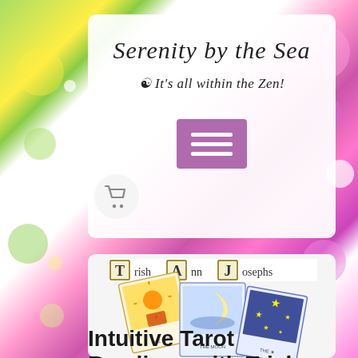[Figure (illustration): Colorful bokeh sparkle background with green, yellow, pink, purple and white glitter light spots covering the full page]
Serenity by the Sea
☯ It's all within the Zen!
[Figure (other): Purple hamburger menu button with three white horizontal lines]
[Figure (other): Shopping cart icon in a round button]
[Figure (photo): Tarot cards image with label 'Trish Ann Josephs' showing three illustrated tarot cards (The Sun, The Moon, and a star card) fanned out]
Intuitive Tarot Readings with Trish